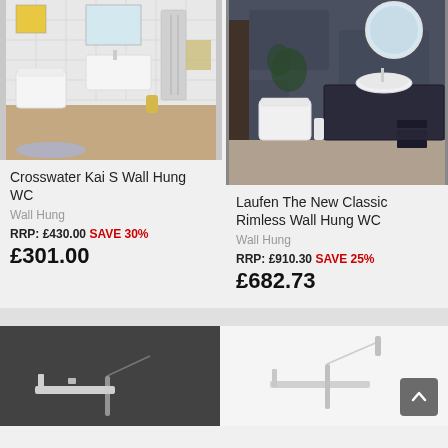[Figure (photo): Bathroom scene showing white wall-hung WC, heated towel rail, basin and mirror in a white tiled bathroom]
Crosswater Kai S Wall Hung WC
Wall Hung
RRP: £430.00 SAVE 30%
£301.00
[Figure (photo): Dark moody bathroom with navy vanity unit, vessel sink, round mirror, and wall-hung WC]
Laufen The New Classic Rimless Wall Hung WC
Wall Hung
RRP: £910.30 SAVE 25%
£682.73
[Figure (photo): Dark grey background with partial view of a bath faucet and hand shower]
[Figure (photo): Light background with partial view of a bath faucet and hand shower, back-to-top button visible]